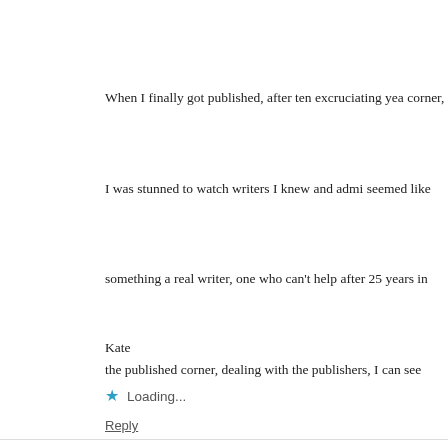When I finally got published, after ten excruciating years in the unpublished corner, I was stunned to watch writers I knew and admired give up. It seemed like something a real writer, one who can't help writing, wouldn't do. But after 25 years in the published corner, dealing with the realities of agents and publishers, I can see how a person might get discouraged. When my Charlotte Kozak series was dropped by my publisher, no one around me thought this was common in the industry, and not to let it discourage me. That encouragement led me to take chances, chances which resulted in Level Best Books, keeping New England writers in print, and the Joe Burgess series, which has been a continuing source of joy. It is hard to maintain a career as a published writer, and supportive fans and readers really make a difference.
Kate
Loading...
Reply